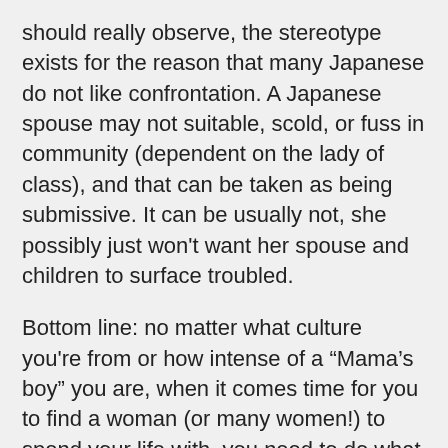should really observe, the stereotype exists for the reason that many Japanese do not like confrontation. A Japanese spouse may not suitable, scold, or fuss in community (dependent on the lady of class), and that can be taken as being submissive. It can be usually not, she possibly just won't want her spouse and children to surface troubled.
Bottom line: no matter what culture you're from or how intense of a “Mama’s boy” you are, when it comes time for you to find a woman (or many women!) to spend your life with, you need to do what is right for you. Ultimately, your mother will be happy for you.
When I werite these kinds of posts, the